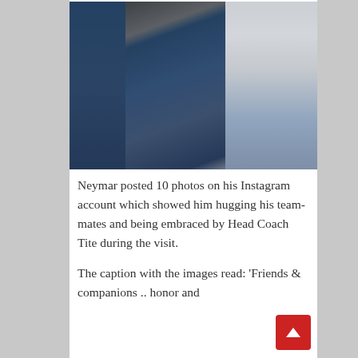[Figure (photo): Two men greeting each other — one in a dark blue Brazil national team training kit (with Itaú and Nike logos) and one in a white hoodie with distressed jeans, appearing to be embracing or patting each other. A third person in a blue outfit is partially visible on the left edge.]
Neymar posted 10 photos on his Instagram account which showed him hugging his team-mates and being embraced by Head Coach Tite during the visit.
The caption with the images read: 'Friends & companions .. honor and